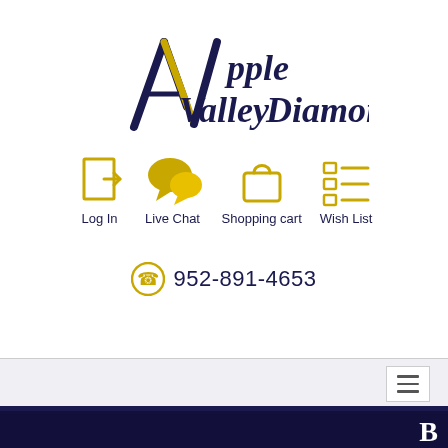[Figure (logo): Apple Valley Diamonds logo with stylized A/V letterform in dark blue and gold text]
[Figure (infographic): Navigation icons row: Log In (door with arrow), Live Chat (speech bubbles), Shopping cart (bag), Wish List (checklist) — all in gold color with dark blue labels below]
952-891-4653
[Figure (infographic): Search bar with gold border and gold magnifying glass icon]
[Figure (infographic): Navigation bar with hamburger menu button (three horizontal lines) on right side]